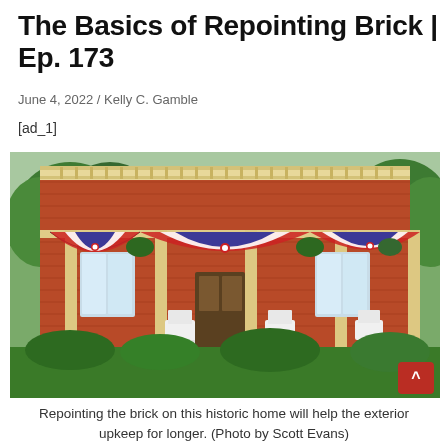The Basics of Repointing Brick | Ep. 173
June 4, 2022 / Kelly C. Gamble
[ad_1]
[Figure (photo): A historic two-story brick home with a wrap-around porch decorated with red, white, and blue patriotic bunting banners. White Adirondack chairs sit on the porch. The porch has cream/yellow columns. Lush green landscaping in the foreground with small American flags. A red scroll-to-top button visible in the lower right corner of the image.]
Repointing the brick on this historic home will help the exterior upkeep for longer. (Photo by Scott Evans)